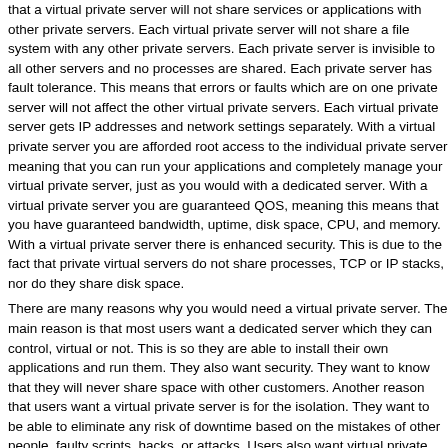that a virtual private server will not share services or applications with other private servers. Each virtual private server will not share a file system with any other private servers. Each private server is invisible to all other servers and no processes are shared. Each private server has fault tolerance. This means that errors or faults which are on one private server will not affect the other virtual private servers. Each virtual private server gets IP addresses and network settings separately. With a virtual private server you are afforded root access to the individual private server meaning that you can run your applications and completely manage your virtual private server, just as you would with a dedicated server. With a virtual private server you are guaranteed QOS, meaning this means that you have guaranteed bandwidth, uptime, disk space, CPU, and memory. With a virtual private server there is enhanced security. This is due to the fact that private virtual servers do not share processes, TCP or IP stacks, nor do they share disk space.
There are many reasons why you would need a virtual private server. The main reason is that most users want a dedicated server which they can control, virtual or not. This is so they are able to install their own applications and run them. They also want security. They want to know that they will never share space with other customers. Another reason that users want a virtual private server is for the isolation. They want to be able to eliminate any risk of downtime based on the mistakes of other people, faulty scripts, hacks, or attacks. Users also want virtual private servers because they want optimum performance. This means that their website is growing and they need additional resources to ensure that it continues to grow.
These are many of the reasons why users are turning toward virtual private servers instead of dedicated servers. Initially, before the major popularization of virtual private servers, users turned toward dedicated servers to provide the aforementioned items. They sought the same performance, security, and control from dedicated servers. However, with a dedicated server, many users only use as little as five percent or less of the dedicate machine. This is where the benefits of virtual private servers really shine. The use of virtual private servers offer the same benefits users